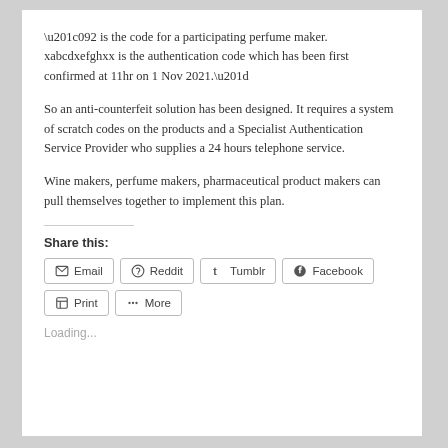“092 is the code for a participating perfume maker. xabcdxefghxx is the authentication code which has been first confirmed at 11hr on 1 Nov 2021.”
So an anti-counterfeit solution has been designed. It requires a system of scratch codes on the products and a Specialist Authentication Service Provider who supplies a 24 hours telephone service.
Wine makers, perfume makers, pharmaceutical product makers can pull themselves together to implement this plan.
Share this:
Email  Reddit  Tumblr  Facebook  Print  More
Loading...